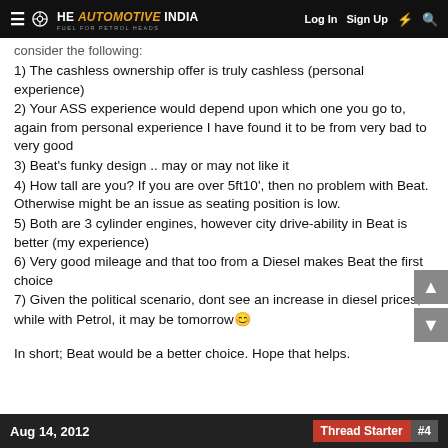THE AUTOMOTIVE INDIA — Log In  Sign Up  ⚡  🔍
consider the following:
1) The cashless ownership offer is truly cashless (personal experience)
2) Your ASS experience would depend upon which one you go to, again from personal experience I have found it to be from very bad to very good
3) Beat's funky design .. may or may not like it
4) How tall are you? If you are over 5ft10', then no problem with Beat. Otherwise might be an issue as seating position is low.
5) Both are 3 cylinder engines, however city drive-ability in Beat is better (my experience)
6) Very good mileage and that too from a Diesel makes Beat the first choice
7) Given the political scenario, dont see an increase in diesel prices, while with Petrol, it may be tomorrow 😊
In short; Beat would be a better choice. Hope that helps.
Aug 14, 2012  Thread Starter  #4